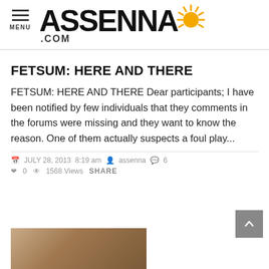ASSENNA.COM — MENU
FETSUM: HERE AND THERE
FETSUM: HERE AND THERE Dear participants; I have been notified by few individuals that they comments in the forums were missing and they want to know the reason. One of them actually suspects a foul play...
JULY 28, 2013  8:19 am  assenna  6  0  1568 Views  SHARE
[Figure (photo): Partial photo of a person's face at the bottom of the page]